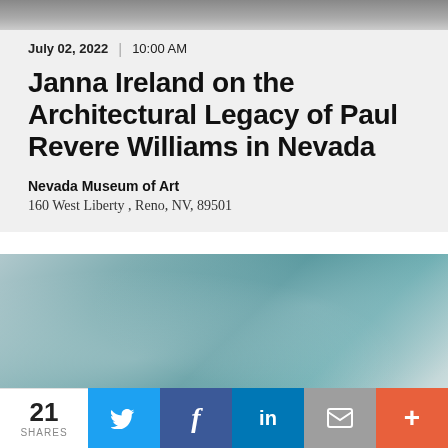[Figure (photo): Grayscale photo strip at top of page]
July 02, 2022 | 10:00 AM
Janna Ireland on the Architectural Legacy of Paul Revere Williams in Nevada
Nevada Museum of Art
160 West Liberty , Reno, NV, 89501
[Figure (photo): Blurred teal/blue abstract photo]
21 SHARES